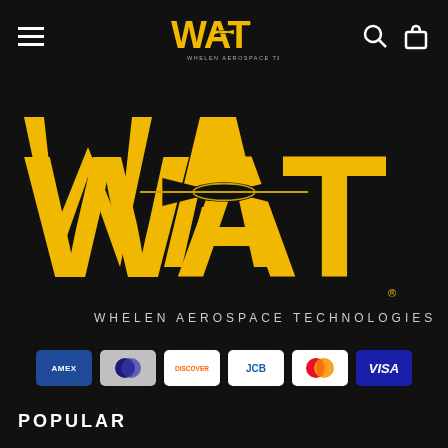[Figure (logo): WAT (Whelen Aerospace Technologies) logo in header navigation bar with hamburger menu, search icon, and shopping bag icon on black background]
[Figure (logo): Large WAT (Whelen Aerospace Technologies) logo centered on black background, yellow block letters WAT with airplane silhouette integrated, subtitle text below]
[Figure (infographic): Row of payment method icons: American Express, Diners Club, Discover, JCB, Mastercard, Visa]
POPULAR